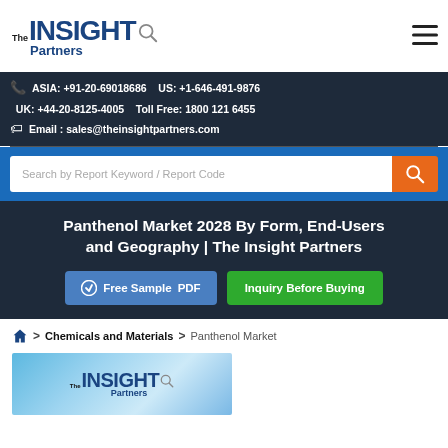[Figure (logo): The Insight Partners logo with magnifying glass icon]
ASIA: +91-20-69018686    US: +1-646-491-9876
UK: +44-20-8125-4005    Toll Free: 1800 121 6455
Email : sales@theinsightpartners.com
Search by Report Keyword / Report Code
Panthenol Market 2028 By Form, End-Users and Geography | The Insight Partners
Free Sample PDF
Inquiry Before Buying
Chemicals and Materials > Panthenol Market
[Figure (logo): The Insight Partners logo on preview image background]